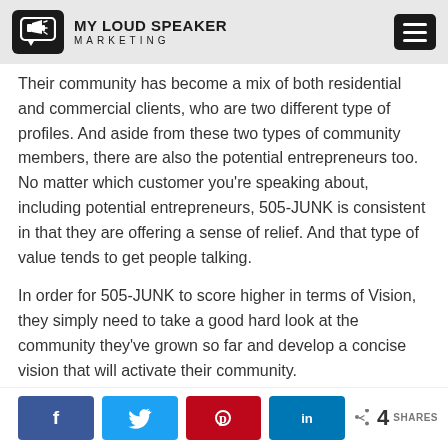MY LOUD SPEAKER MARKETING
Their community has become a mix of both residential and commercial clients, who are two different type of profiles. And aside from these two types of community members, there are also the potential entrepreneurs too. No matter which customer you're speaking about, including potential entrepreneurs, 505-JUNK is consistent in that they are offering a sense of relief. And that type of value tends to get people talking.
In order for 505-JUNK to score higher in terms of Vision, they simply need to take a good hard look at the community they've grown so far and develop a concise vision that will activate their community.
In terms of their future entrepreneurs who are most
4 SHARES